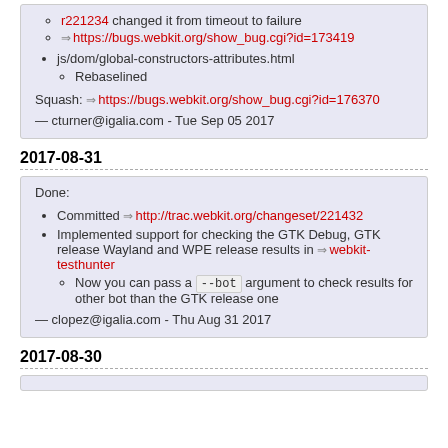r221234 changed it from timeout to failure
https://bugs.webkit.org/show_bug.cgi?id=173419
js/dom/global-constructors-attributes.html
Rebaselined
Squash: https://bugs.webkit.org/show_bug.cgi?id=176370
— cturner@igalia.com - Tue Sep 05 2017
2017-08-31
Done:
Committed http://trac.webkit.org/changeset/221432
Implemented support for checking the GTK Debug, GTK release Wayland and WPE release results in webkit-testhunter
Now you can pass a --bot argument to check results for other bot than the GTK release one
— clopez@igalia.com - Thu Aug 31 2017
2017-08-30